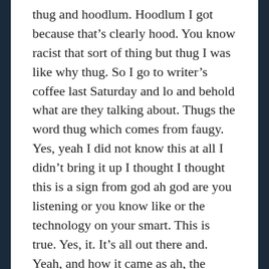thug and hoodlum. Hoodlum I got because that’s clearly hood. You know racist that sort of thing but thug I was like why thug. So I go to writer’s coffee last Saturday and lo and behold what are they talking about. Thugs the word thug which comes from faugy. Yes, yeah I did not know this at all I didn’t bring it up I thought I thought this is a sign from god ah god are you listening or you know like or the technology on your smart. This is true. Yes, it. It’s all out there and. Yeah, and how it came as ah, the british used said as propaganda against indian gods and nice or East India yeah yeah and yeah I didn’t even know that I was like oh well, no I get it and all those. Yeah, although still, it’s um, you know some of these